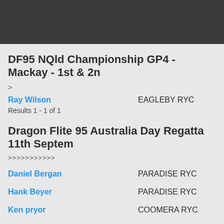DF95 NQld Championship GP4 - Mackay - 1st & 2nd
>
Ray Wilson    EAGLEBY RYC
Results 1 - 1 of 1
Dragon Flite 95 Australia Day Regatta 11th Septem
>>>>>>>>>>>
Daniel Bergan    PARADISE RYC
Hank Beyer    PARADISE RYC
Ken pryor    COOMERA RYC
Ron Brown    PARADISE RYC
Simon Harris    PARADISE RYC
Will Charlton    COOMERA RYC